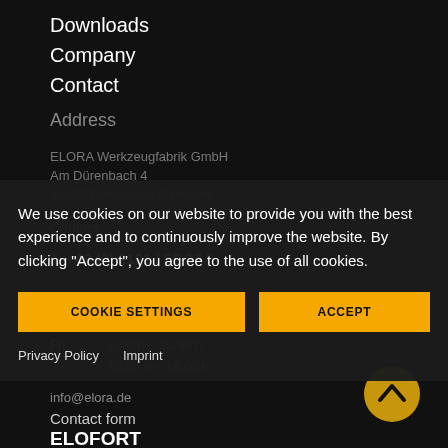Downloads
Company
Contact
Address
ELORA Werkzeugfabrik GmbH
Am Dürenbach 4
42899 Remscheid Germany
Contact
T: +49 (0) 2191 / 56 27 0
Mon – Thu   8.00 h – 12.30 h
            13.00 h – 16.30 h
Fri         8.00 h – 12.30 h
            13.00 h – 14.00 h
info@elora.de
Contact form
ELOFORT
The tool alternative from ELORA
We use cookies on our website to provide you with the best experience and to continuously improve the website. By clicking "Accept", you agree to the use of all cookies.
COOKIE SETTINGS
ACCEPT
Privacy Policy   Imprint